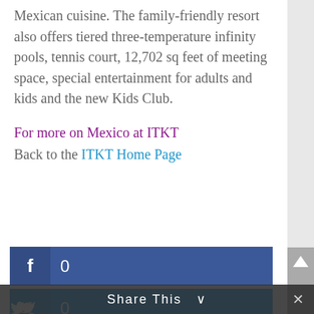Mexican cuisine. The family-friendly resort also offers tiered three-temperature infinity pools, tennis court, 12,702 sq feet of meeting space, special entertainment for adults and kids and the new Kids Club.
For more on Mexico at ITKT
Back to the ITKT Home Page
[Figure (infographic): Social share buttons: Facebook (0), Twitter (0), Google+ (0), Pinterest (0) with share bar at bottom]
Share This